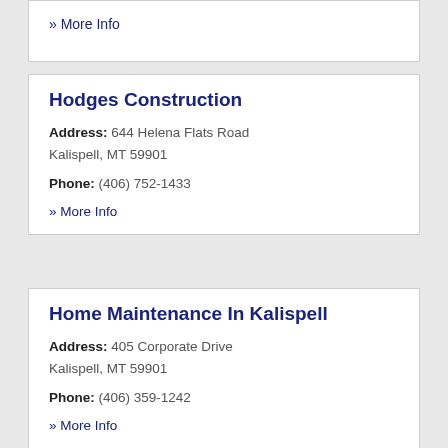» More Info
Hodges Construction
Address: 644 Helena Flats Road Kalispell, MT 59901
Phone: (406) 752-1433
» More Info
Home Maintenance In Kalispell
Address: 405 Corporate Drive Kalispell, MT 59901
Phone: (406) 359-1242
» More Info